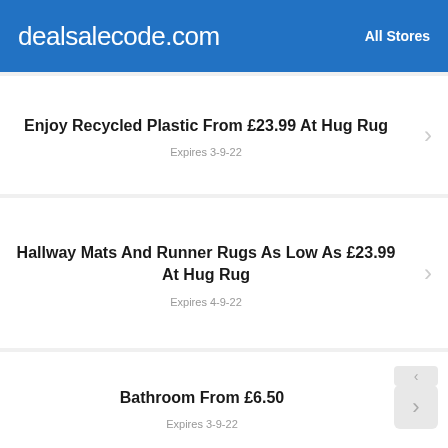dealsalecode.com   All Stores
Enjoy Recycled Plastic From £23.99 At Hug Rug
Expires 3-9-22
Hallway Mats And Runner Rugs As Low As £23.99 At Hug Rug
Expires 4-9-22
Bathroom From £6.50
Expires 3-9-22